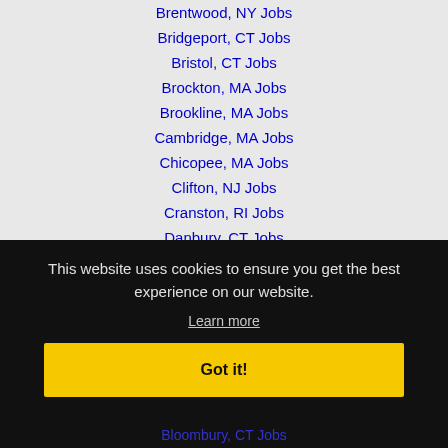Brentwood, NY Jobs
Bridgeport, CT Jobs
Bristol, CT Jobs
Brockton, MA Jobs
Brookline, MA Jobs
Cambridge, MA Jobs
Chicopee, MA Jobs
Clifton, NJ Jobs
Cranston, RI Jobs
Danbury, CT Jobs
This website uses cookies to ensure you get the best experience on our website.
Learn more
Got it!
Bloombury, CT Jobs